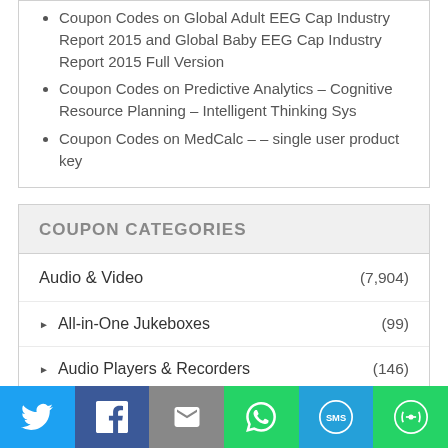Coupon Codes on Global Adult EEG Cap Industry Report 2015 and Global Baby EEG Cap Industry Report 2015 Full Version
Coupon Codes on Predictive Analytics – Cognitive Resource Planning – Intelligent Thinking Sys
Coupon Codes on MedCalc – – single user product key
COUPON CATEGORIES
Audio & Video (7,904)
All-in-One Jukeboxes (99)
Audio Players & Recorders (146)
CD/DVD Burners (438)